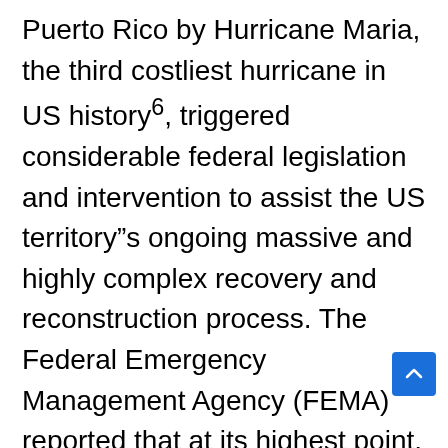Puerto Rico by Hurricane Maria, the third costliest hurricane in US history6, triggered considerable federal legislation and intervention to assist the US territory"s ongoing massive and highly complex recovery and reconstruction process. The Federal Emergency Management Agency (FEMA) reported that at its highest point, more than 19,000 federal employees and military service members from 80 federal agencies were mobilized to Puerto Rico.7 It should be noted that much criticism has been directed at FEMA and other federal entities for a sluggish response, and poor planning due to underestimations of potential damages and an